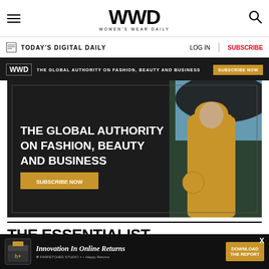WWD — WOMEN'S WEAR DAILY
TODAY'S DIGITAL DAILY | LOG IN | SUBSCRIBE
[Figure (screenshot): WWD advertisement banner: dark background with a woman in yellow outfit holding an umbrella. Text reads 'THE GLOBAL AUTHORITY ON FASHION, BEAUTY AND BUSINESS' with a 'SUBSCRIBE NOW' button.]
THE ESSENTIALIST
20 Cute Summer Outfits
[Figure (screenshot): Bottom advertisement banner: dark background with yellow delivery box logo, text 'Innovation In Online Returns' with Farfetched Studio x Happy Returns logos and 'DOWNLOAD THE REPORT' button.]